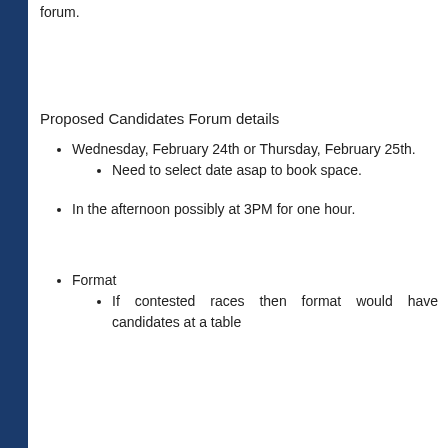forum.
Proposed Candidates Forum details
Wednesday, February 24th or Thursday, February 25th.
Need to select date asap to book space.
In the afternoon possibly at 3PM for one hour.
Format
If contested races then format would have candidates at a table